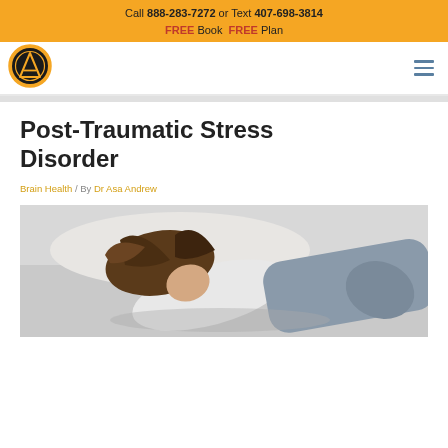Call 888-283-7272 or Text 407-698-3814
FREE Book  FREE Plan
[Figure (logo): Circular logo with black background, gold border, and white letter A inside a triangle shape]
Post-Traumatic Stress Disorder
Brain Health / By Dr Asa Andrew
[Figure (photo): Woman lying on bed in distress, curled up with dark curly hair spread out, wearing white top and grey jeans]